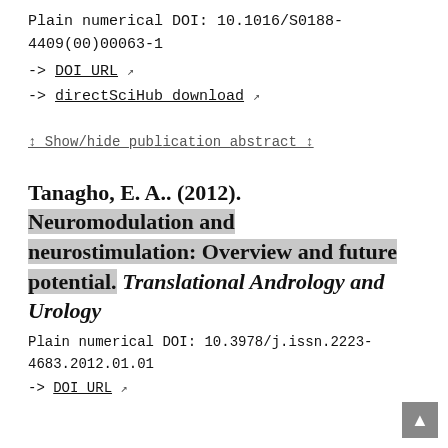Plain numerical DOI: 10.1016/S0188-4409(00)00063-1
-> DOI URL [external link]
-> directSciHub download [external link]
↕ Show/hide publication abstract ↕
Tanagho, E. A.. (2012). Neuromodulation and neurostimulation: Overview and future potential. Translational Andrology and Urology
Plain numerical DOI: 10.3978/j.issn.2223-4683.2012.01.01
-> DOI URL [external link]